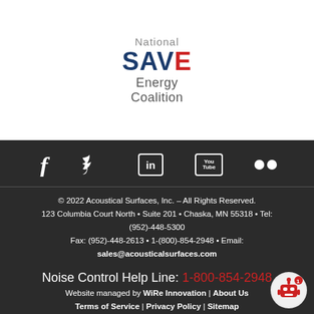[Figure (logo): National SAVE Energy Coalition logo with blue SAVE text and red stripe on E, gray National and Energy Coalition text]
[Figure (infographic): Social media icons row: Facebook, Twitter, LinkedIn, YouTube, Flickr on dark background]
© 2022 Acoustical Surfaces, Inc. – All Rights Reserved. 123 Columbia Court North • Suite 201 • Chaska, MN 55318 • Tel: (952)-448-5300 Fax: (952)-448-2613 • 1-(800)-854-2948 • Email: sales@acousticalsurfaces.com
Noise Control Help Line: 1-800-854-2948
Website managed by WiRe Innovation | About Us Terms of Service | Privacy Policy | Sitemap